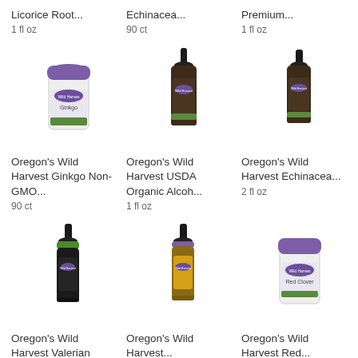Licorice Root...
1 fl oz
Echinacea...
90 ct
Premium...
1 fl oz
[Figure (photo): White pill bottle with purple lid labeled Ginkgo - Oregon's Wild Harvest]
[Figure (photo): Dark amber dropper bottle - Oregon's Wild Harvest]
[Figure (photo): Dark amber dropper bottle - Oregon's Wild Harvest Echinacea]
Oregon's Wild Harvest Ginkgo Non-GMO...
90 ct
Oregon's Wild Harvest USDA Organic Alcoh...
1 fl oz
Oregon's Wild Harvest Echinacea...
2 fl oz
[Figure (photo): Dark dropper bottle with green collar - Oregon's Wild Harvest Valerian]
[Figure (photo): Dark amber dropper bottle with yellow label - Oregon's Wild Harvest]
[Figure (photo): White pill bottle with purple lid labeled Red Clover - Oregon's Wild Harvest]
Oregon's Wild Harvest Valerian...
Oregon's Wild Harvest...
Oregon's Wild Harvest Red...